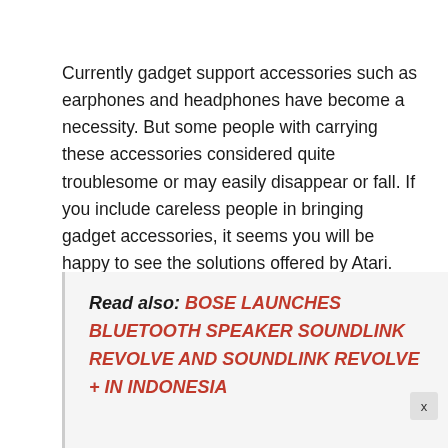Currently gadget support accessories such as earphones and headphones have become a necessity. But some people with carrying these accessories considered quite troublesome or may easily disappear or fall. If you include careless people in bringing gadget accessories, it seems you will be happy to see the solutions offered by Atari.
Read also: BOSE LAUNCHES BLUETOOTH SPEAKER SOUNDLINK REVOLVE AND SOUNDLINK REVOLVE + IN INDONESIA